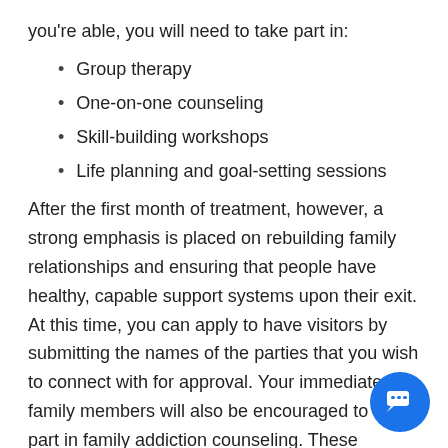you're able, you will need to take part in:
Group therapy
One-on-one counseling
Skill-building workshops
Life planning and goal-setting sessions
After the first month of treatment, however, a strong emphasis is placed on rebuilding family relationships and ensuring that people have healthy, capable support systems upon their exit. At this time, you can apply to have visitors by submitting the names of the parties that you wish to connect with for approval. Your immediate family members will also be encouraged to take part in family addiction counseling. These services are great for helping the relatives of patients overcome emotions such as guilt, blame, and grief among many others. It also ensures that people are able to recognize co-dependent behaviors, enabling behaviors, and other practices that undermine patients' efforts to get well.